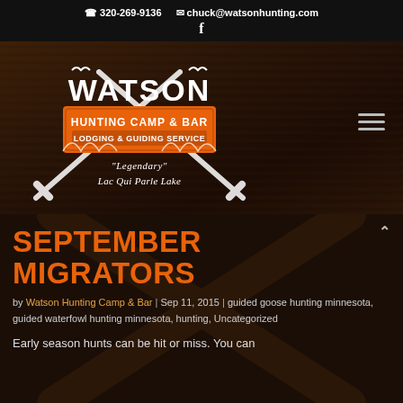☎ 320-269-9136  ✉ chuck@watsonhunting.com  f
[Figure (logo): Watson Hunting Camp & Bar logo with crossed rifles, orange banner, birds, and text 'Legendary Lac Qui Parle Lake']
SEPTEMBER MIGRATORS
by Watson Hunting Camp & Bar | Sep 11, 2015 | guided goose hunting minnesota, guided waterfowl hunting minnesota, hunting, Uncategorized
Early season hunts can be hit or miss. You can